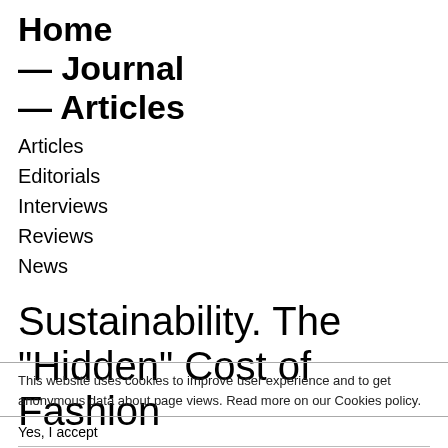Home — Journal — Articles
Articles
Editorials
Interviews
Reviews
News
Sustainability. The “Hidden” Cost of Fashion
This website uses cookies to improve user experience and to get anonymous data about page views. Read more on our Cookies policy.
Yes, I accept